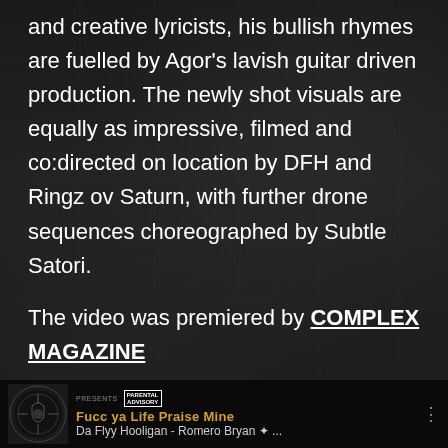and creative lyricists, his bullish rhymes are fuelled by Agor's lavish guitar driven production. The newly shot visuals are equally as impressive, filmed and co:directed on location by DFH and Ringz ov Saturn, with further drone sequences choreographed by Subtle Satori.
The video was premiered by COMPLEX MAGAZINE
Watch it now on Youtube
[Figure (screenshot): Music player UI showing song 'Fucc ya Life Praise Mine' by Da Flyy Hooligan - Romero Bryan * ... with album art on dark background]